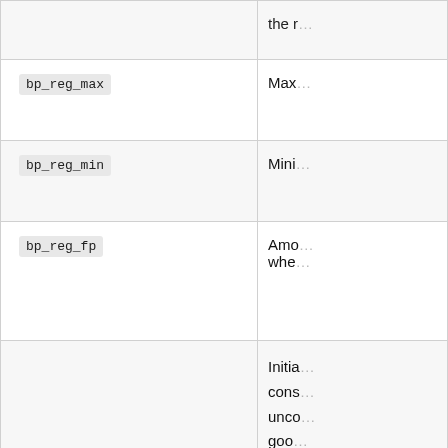| Parameter | Description |
| --- | --- |
|  | the r... |
| bp_reg_max | Max... |
| bp_reg_min | Mini... |
| bp_reg_fp | Amo... whe... |
| penalty_initial | Initia... cons... unco... goo... the d... high... prov... NaN cons... defa... |
|  | Mult... the r... |